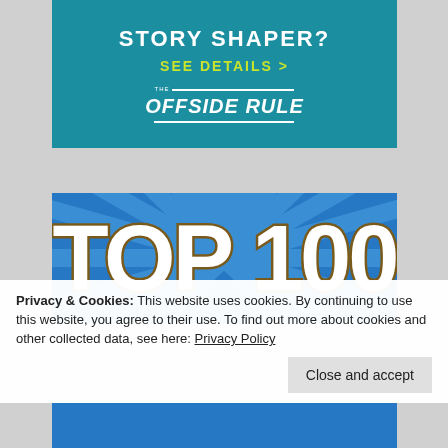[Figure (infographic): Teal banner with text 'STORY SHAPER?' in white bold uppercase, 'SEE DETAILS >' in yellow-green, and 'THE OFFSIDE RULE' logo in white with horizontal lines above and below]
[Figure (infographic): Blue banner with radial ray pattern background and large bold white text 'TOP 100' with dark gold outline]
Privacy & Cookies: This website uses cookies. By continuing to use this website, you agree to their use. To find out more about cookies and other collected data, see here: Privacy Policy
Close and accept
[Figure (photo): Bottom strip of blue banner with partial faces/photos visible]